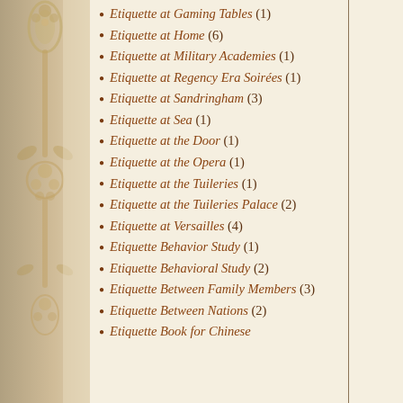[Figure (illustration): Decorative silver cutlery/silverware ornamental illustration along the left edge of the page]
Etiquette at Gaming Tables (1)
Etiquette at Home (6)
Etiquette at Military Academies (1)
Etiquette at Regency Era Soirées (1)
Etiquette at Sandringham (3)
Etiquette at Sea (1)
Etiquette at the Door (1)
Etiquette at the Opera (1)
Etiquette at the Tuileries (1)
Etiquette at the Tuileries Palace (2)
Etiquette at Versailles (4)
Etiquette Behavior Study (1)
Etiquette Behavioral Study (2)
Etiquette Between Family Members (3)
Etiquette Between Nations (2)
Etiquette Book for Chinese